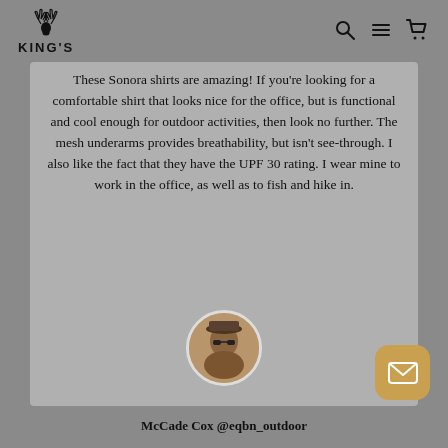KING'S
These Sonora shirts are amazing! If you're looking for a comfortable shirt that looks nice for the office, but is functional and cool enough for outdoor activities, then look no further. The mesh underarms provides breathability, but isn't see-through. I also like the fact that they have the UPF 30 rating. I wear mine to work in the office, as well as to fish and hike in.
[Figure (photo): Circular avatar photo of a person wearing a hat outdoors]
McCade Cox @eqbn_outdoor